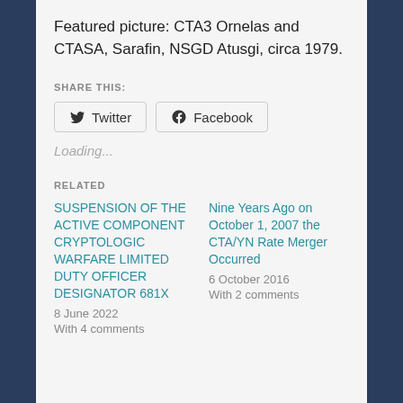Featured picture: CTA3 Ornelas and CTASA, Sarafin, NSGD Atusgi, circa 1979.
SHARE THIS:
Twitter  Facebook
Loading...
RELATED
SUSPENSION OF THE ACTIVE COMPONENT CRYPTOLOGIC WARFARE LIMITED DUTY OFFICER DESIGNATOR 681X
8 June 2022
With 4 comments
Nine Years Ago on October 1, 2007 the CTA/YN Rate Merger Occurred
6 October 2016
With 2 comments